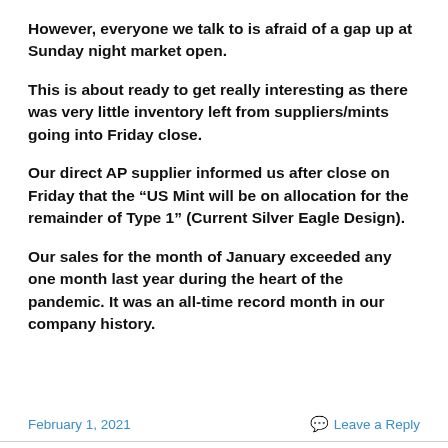However, everyone we talk to is afraid of a gap up at Sunday night market open.
This is about ready to get really interesting as there was very little inventory left from suppliers/mints going into Friday close.
Our direct AP supplier informed us after close on Friday that the “US Mint will be on allocation for the remainder of Type 1” (Current Silver Eagle Design).
Our sales for the month of January exceeded any one month last year during the heart of the pandemic. It was an all-time record month in our company history.
February 1, 2021   Leave a Reply